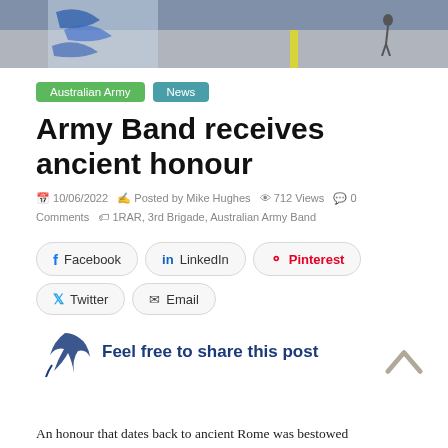[Figure (photo): Header photo of a road/tarmac scene with a person walking, partial logo visible at top left]
Australian Army   News
Army Band receives ancient honour
10/06/2022  Posted by Mike Hughes  712 Views  0 Comments  1RAR, 3rd Brigade, Australian Army Band
Facebook  LinkedIn  Pinterest  Twitter  Email
Feel free to share this post
An honour that dates back to ancient Rome was bestowed